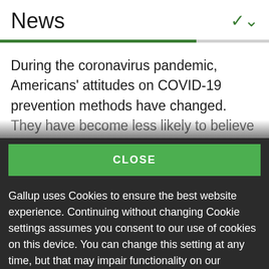News
During the coronavirus pandemic, Americans' attitudes on COVID-19 prevention methods have changed. They have become less likely to believe
CLOSE
Gallup uses Cookies to ensure the best website experience. Continuing without changing Cookie settings assumes you consent to our use of cookies on this device. You can change this setting at any time, but that may impair functionality on our websites.
Privacy Statement   Site Terms of Use and Sale
Product Terms of Use   Adjust your cookie settings.